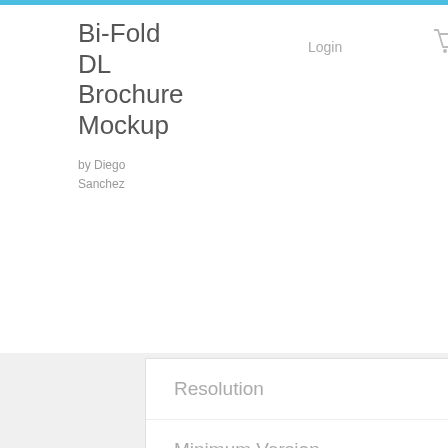Bi-Fold DL Brochure Mockup
by Diego Sanchez
Login
Buy Now - $5
| Property | Value |
| --- | --- |
| Resolution | 4800 x 3200 px |
| Minimum Version | Photoshop CC |
| Image Type | Bitmap |
| Filetypes | PSD |
DESIGNED BY
Diego Sanchez
Diego prevents carpal tunnel syndrome in designers worldwide by making incredible time-saving Photoshop actions and mock-ups.
[Figure (photo): Black and white portrait photo of Diego Sanchez, a man with curly dark hair]